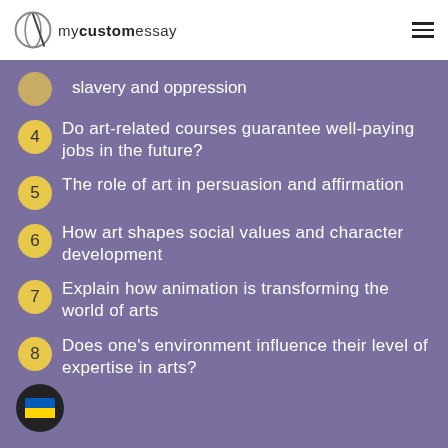mycustomessay
slavery and oppression
4 Do art-related courses guarantee well-paying jobs in the future?
5 The role of art in persuasion and affirmation
6 How art shapes social values and character development
7 Explain how animation is transforming the world of arts
8 Does one's environment influence their level of expertise in arts?